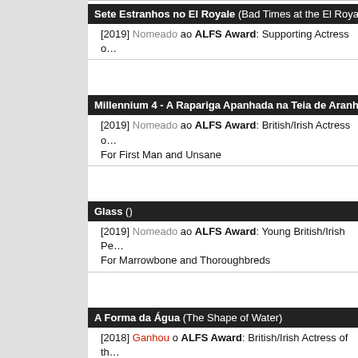Sete Estranhos no El Royale (Bad Times at the El Royale)
[2019] Nomeado ao ALFS Award: Supporting Actress o…
Millennium 4 - A Rapariga Apanhada na Teia de Aranha (…)
[2019] Nomeado ao ALFS Award: British/Irish Actress o… For First Man and Unsane
Glass ()
[2019] Nomeado ao ALFS Award: Young British/Irish Pe… For Marrowbone and Thoroughbreds
A Forma da Água (The Shape of Water)
[2018] Ganhou o ALFS Award: British/Irish Actress of th… For Maudie and Paddington 2
[2018] Nomeado ao ALFS Award: Fi…